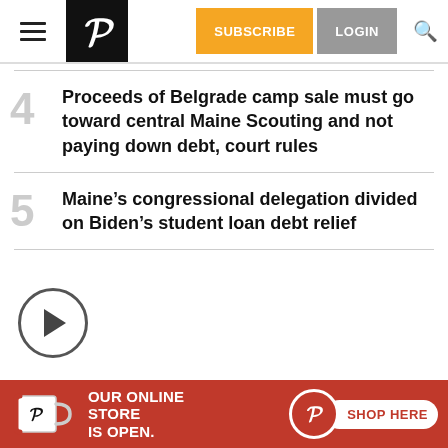SUBSCRIBE | LOGIN
4 Proceeds of Belgrade camp sale must go toward central Maine Scouting and not paying down debt, court rules
5 Maine’s congressional delegation divided on Biden’s student loan debt relief
[Figure (other): Play button circle icon at bottom left of page]
[Figure (infographic): Red advertisement banner: OUR ONLINE STORE IS OPEN. SHOP HERE, with Portland Press Herald mug and logo]